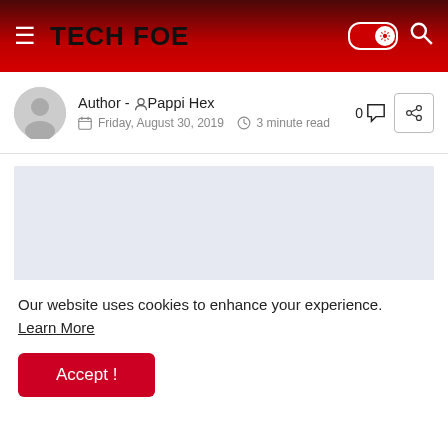TECH FOE
Author - Pappi Hex
Friday, August 30, 2019  3 minute read
[Figure (photo): Light blue/lavender placeholder image area for an article thumbnail]
Our website uses cookies to enhance your experience. Learn More
Accept !